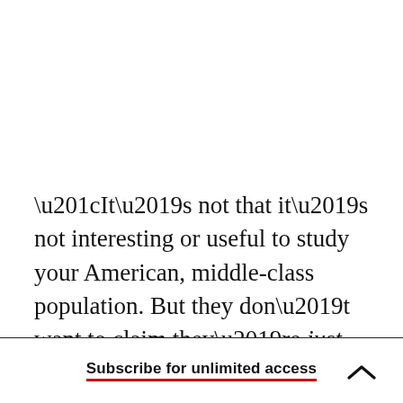“It’s not that it’s not interesting or useful to study your American, middle-class population. But they don’t want to claim they’re just studying that population,” Legare says. “They want to claim that humans are alike enough that it really doesn’t
Subscribe for unlimited access